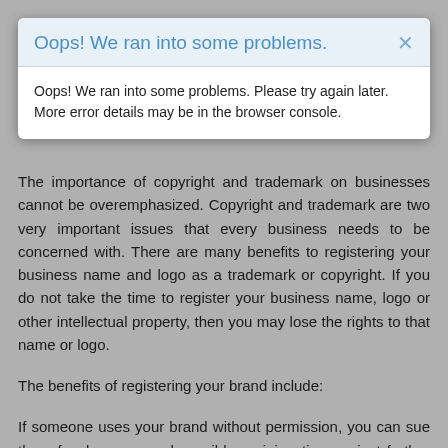Oops! We ran into some problems.
Oops! We ran into some problems. Please try again later. More error details may be in the browser console.
The importance of copyright and trademark on businesses cannot be overemphasized. Copyright and trademark are two very important issues that every business needs to be concerned with. There are many benefits to registering your business name and logo as a trademark or copyright. If you do not take the time to register your business name, logo or other intellectual property, then you may lose the rights to that name or logo.
The benefits of registering your brand include:
If someone uses your brand without permission, you can sue them for damages and possibly an injunction against further use of the mark;
You have a legal basis for preventing others from using confusingly similar marks that may cause confusion among